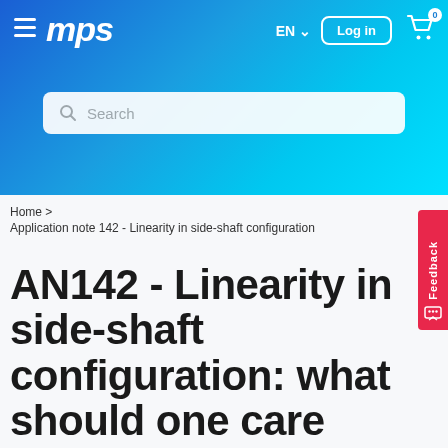MPS
EN  Log in  0
Search
Home > Application note 142 - Linearity in side-shaft configuration
AN142 - Linearity in side-shaft configuration: what should one care about?